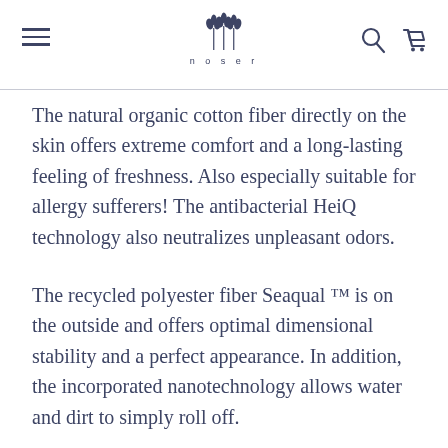noser
The natural organic cotton fiber directly on the skin offers extreme comfort and a long-lasting feeling of freshness. Also especially suitable for allergy sufferers! The antibacterial HeiQ technology also neutralizes unpleasant odors.
The recycled polyester fiber Seaqual ™ is on the outside and offers optimal dimensional stability and a perfect appearance. In addition, the incorporated nanotechnology allows water and dirt to simply roll off.